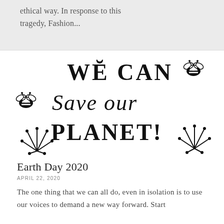ethical way. In response to this tragedy, Fashion...
[Figure (illustration): Hand-drawn illustration with text 'WE CAN Save our PLANET!' with bee and flower/plant decorative elements in black ink on white background]
Earth Day 2020
APRIL 22, 2020
The one thing that we can all do, even in isolation is to use our voices to demand a new way forward. Start